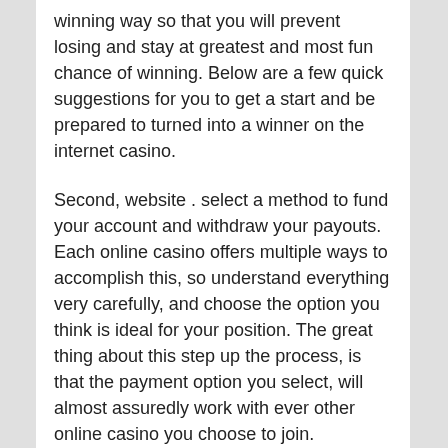winning way so that you will prevent losing and stay at greatest and most fun chance of winning. Below are a few quick suggestions for you to get a start and be prepared to turned into a winner on the internet casino.
Second, website . select a method to fund your account and withdraw your payouts. Each online casino offers multiple ways to accomplish this, so understand everything very carefully, and choose the option you think is ideal for your position. The great thing about this step up the process, is that the payment option you select, will almost assuredly work with ever other online casino you choose to join.
This casino offers a $200 set up bonus. This is the